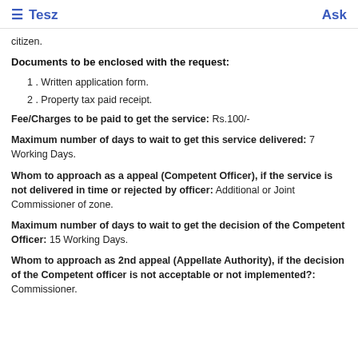≡ Tesz   Ask
citizen.
Documents to be enclosed with the request:
1 . Written application form.
2 . Property tax paid receipt.
Fee/Charges to be paid to get the service: Rs.100/-
Maximum number of days to wait to get this service delivered: 7 Working Days.
Whom to approach as a appeal (Competent Officer), if the service is not delivered in time or rejected by officer: Additional or Joint Commissioner of zone.
Maximum number of days to wait to get the decision of the Competent Officer: 15 Working Days.
Whom to approach as 2nd appeal (Appellate Authority), if the decision of the Competent officer is not acceptable or not implemented?: Commissioner.